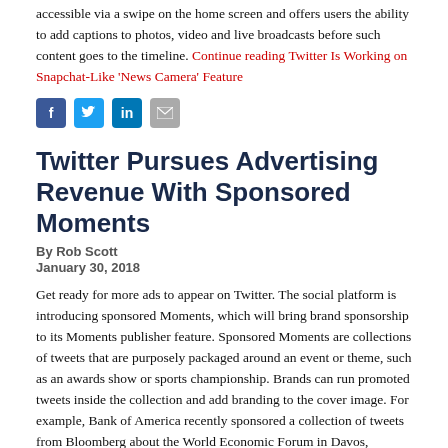accessible via a swipe on the home screen and offers users the ability to add captions to photos, video and live broadcasts before such content goes to the timeline. Continue reading Twitter Is Working on Snapchat-Like 'News Camera' Feature
[Figure (other): Social media sharing icons: Facebook, Twitter, LinkedIn, Email]
Twitter Pursues Advertising Revenue With Sponsored Moments
By Rob Scott
January 30, 2018
Get ready for more ads to appear on Twitter. The social platform is introducing sponsored Moments, which will bring brand sponsorship to its Moments publisher feature. Sponsored Moments are collections of tweets that are purposely packaged around an event or theme, such as an awards show or sports championship. Brands can run promoted tweets inside the collection and add branding to the cover image. For example, Bank of America recently sponsored a collection of tweets from Bloomberg about the World Economic Forum in Davos, Switzerland. Continue reading Twitter Pursues Advertising Revenue With Sponsored Moments